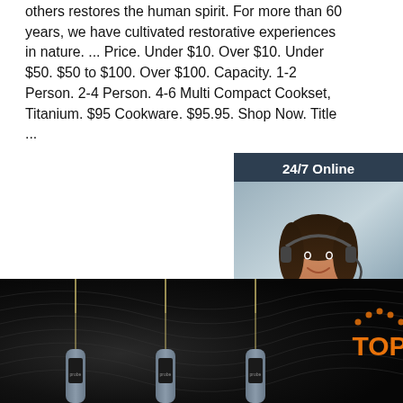others restores the human spirit. For more than 60 years, we have cultivated restorative experiences in nature. ... Price. Under $10. Over $10. Under $50. $50 to $100. Over $100. Capacity. 1-2 Person. 2-4 Person. 4-6 Multi Compact Cookset, Titanium. $95 Cookware. $95.95. Shop Now. Title ...
[Figure (other): Chat widget showing a female customer service representative wearing a headset. Dark blue background with '24/7 Online' header, 'Click here for free chat!' text, and 'QUOTATION' orange button.]
[Figure (other): Orange 'Get Price' button]
[Figure (photo): Dark background product photo showing multiple probe/thermometer-style instruments with needle tips and gray handles. Orange 'TOP' logo visible in lower right corner.]